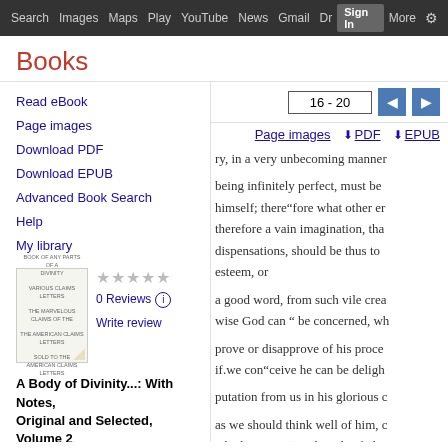Search  Images  Maps  Play  YouTube  News  Gmail  Dr  Sign In  More  ⚙
Books
16 - 20
Page images
PDF
EPUB
Read eBook
Page images
Download PDF
Download EPUB
Advanced Book Search
Help
My library
[Figure (illustration): Thumbnail of book cover for A Body of Divinity...]
0 Reviews
Write review
A Body of Divinity...: With Notes, Original and Selected, Volume 2
ry, in a very unbecoming manner
being infinitely perfect, must be
himself; there“fore what other er
therefore a vain imagination, tha
dispensations, should be thus to 
esteem, or

a good word, from such vile crea
wise God can “ be concerned, wh

prove or disapprove of his proce
if.we con“ceive he can be deligh

putation from us in his glorious c

as we should think well of him, c
which we are " said to glorify hi